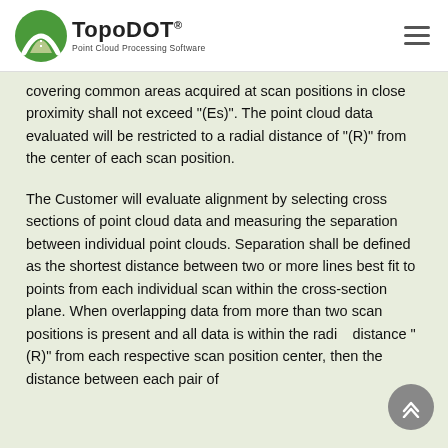TopoDOT® Point Cloud Processing Software
covering common areas acquired at scan positions in close proximity shall not exceed "(Es)". The point cloud data evaluated will be restricted to a radial distance of "(R)" from the center of each scan position.
The Customer will evaluate alignment by selecting cross sections of point cloud data and measuring the separation between individual point clouds. Separation shall be defined as the shortest distance between two or more lines best fit to points from each individual scan within the cross-section plane. When overlapping data from more than two scan positions is present and all data is within the radial distance "(R)" from each respective scan position center, then the distance between each pair of